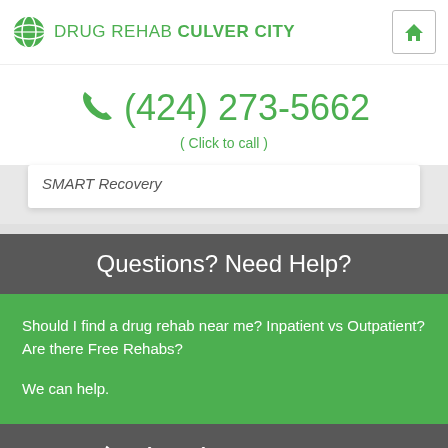DRUG REHAB CULVER CITY
(424) 273-5662
( Click to call )
SMART Recovery
Questions? Need Help?
Should I find a drug rehab near me? Inpatient vs Outpatient? Are there Free Rehabs?
We can help.
(424) 273-5662